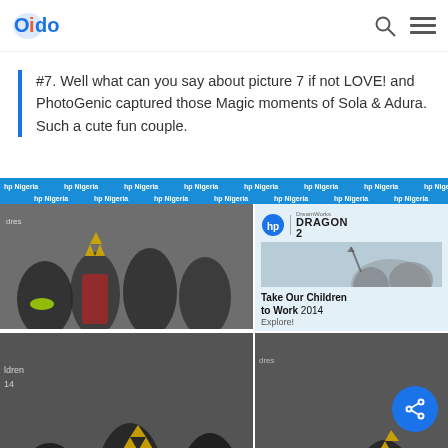Oido
#7. Well what can you say about picture 7 if not LOVE! and PhotoGenic captured those Magic moments of Sola & Adura. Such a cute fun couple.
[Figure (photo): Photo collage with HP Nigeria banner at top, children wearing crowns and novelty sunglasses at a DreamWorks How to Train Your Dragon 2 event. Left side shows two group photos of children in fun accessories. Right side shows HP and Dragon 2 movie promotion with text 'Take Our Children to Work 2014 Explore!' and a smaller photo of children at bottom right. A blue share button is visible at bottom right.]